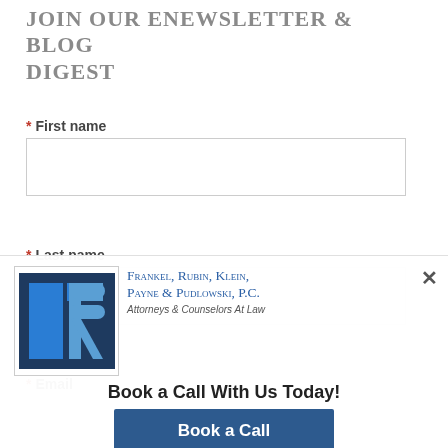JOIN OUR ENEWSLETTER & BLOG DIGEST
* First name
* Last name
* Email
[Figure (logo): Frankel, Rubin, Klein, Payne & Pudlowski, P.C. law firm logo with stylized FR monogram in blue and dark blue square, Attorneys & Counselors At Law]
Book a Call With Us Today!
Book a Call